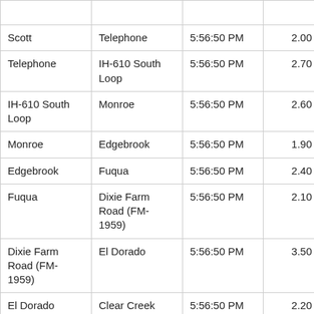| From | To | Time | Distance | Travel Time |
| --- | --- | --- | --- | --- |
| Scott | Telephone | 5:56:50 PM | 2.00 | 2:4… |
| Telephone | IH-610 South Loop | 5:56:50 PM | 2.70 | 8:0… |
| IH-610 South Loop | Monroe | 5:56:50 PM | 2.60 | 4:0… |
| Monroe | Edgebrook | 5:56:50 PM | 1.90 | 1:4… |
| Edgebrook | Fuqua | 5:56:50 PM | 2.40 | 2:0… |
| Fuqua | Dixie Farm Road (FM-1959) | 5:56:50 PM | 2.10 | 1:5… |
| Dixie Farm Road (FM-1959) | El Dorado | 5:56:50 PM | 3.50 | 2:5… |
| El Dorado | Clear Creek | 5:56:50 PM | 2.20 | 2:0… |
| Clear Creek | FM-646 | 5:56:50 PM | 3.80 | 4:0… |
| FM-646 | Holland | 5:56:50 PM | 4.30 | 3:3… |